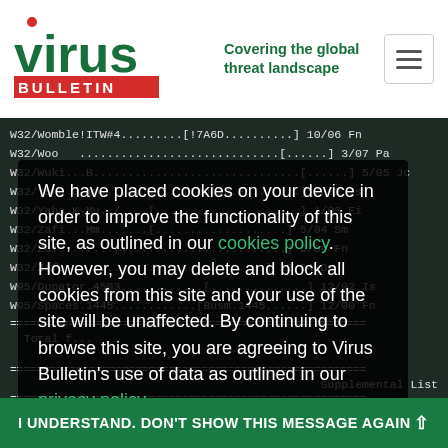[Figure (logo): Virus Bulletin logo with red dot above 'v', green 'virus' text, red 'BULLETIN' banner, and tagline 'Covering the global threat landscape' in green]
W32/Womble!ITW#4.........[!7A6D..........] 10/06 Fn
W32/Woo..................................................] 3/07 Pa
W32/Wuki....B...........................................] 5/05 Jc
W32/Yaha.G-mm............[Lentin.F..........] 7/02 Is
W32/Yaha.K-Mu....[.................................] 1/03 Ei
W32/Zaf...Mm.......[.......................] 5/04 Sm
W32/Zaf.......[................................] 6/04 Fn
W32/Zaf...................................] 12/04 Dp
W95/Dupator.4503............[...............] 12/02 Is
W95/Spaces.1445............[Busm.1445.......] 12/00 Fn
======================================================
Total f...
======================================================
                              Supplemental List
======================================================
As was no...
technically part of "The WildList", as originally
We have placed cookies on your device in order to improve the functionality of this site, as outlined in our cookies policy. However, you may delete and block all cookies from this site and your use of the site will be unaffected. By continuing to browse this site, you are agreeing to Virus Bulletin's use of data as outlined in our privacy policy.
I UNDERSTAND. DON'T SHOW THIS MESSAGE AGAIN